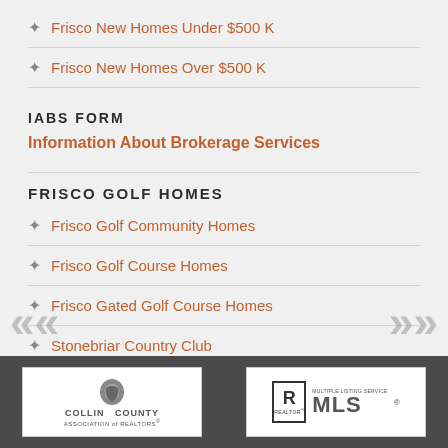Frisco New Homes Under $500 K
Frisco New Homes Over $500 K
IABS FORM
Information About Brokerage Services
FRISCO GOLF HOMES
Frisco Golf Community Homes
Frisco Golf Course Homes
Frisco Gated Golf Course Homes
Stonebriar Country Club
[Figure (logo): Collin County Association of Realtors logo]
[Figure (logo): Realtor MLS Multiple Listing Service logo]